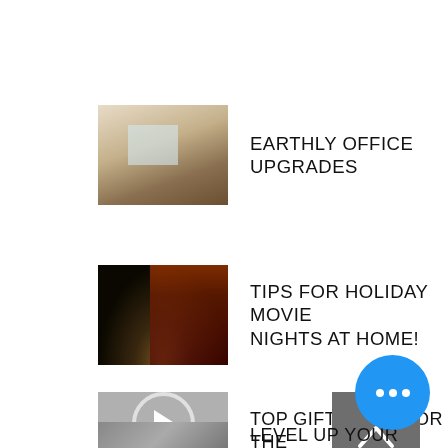[Figure (photo): Office interior with desk, chair, and plants]
EARTHLY OFFICE UPGRADES
[Figure (photo): Dark movie theater or outdoor cinema with crowd and illuminated marquee]
TIPS FOR HOLIDAY MOVIE NIGHTS AT HOME!
[Figure (other): Video thumbnail with play button icon (gray circle with triangle)]
TOP GIFT IDEAS FOR THE GUYS IN YOUR LIFE
[Figure (other): Scroll-to-top button (dark gray square with upward chevron) and blue circular more-options button with three dots]
[Figure (photo): Partially visible thumbnail at bottom]
LEVEL UP YOUR